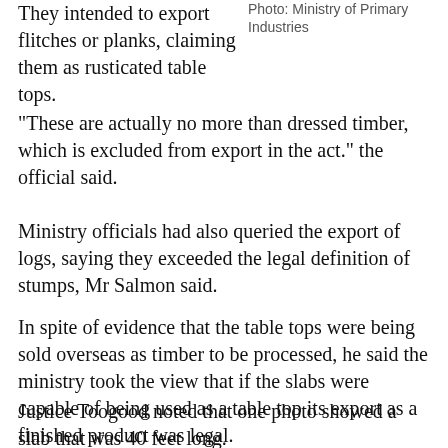They intended to export flitches or planks, claiming them as rusticated table tops.
Photo: Ministry of Primary Industries
"These are actually no more than dressed timber, which is excluded from export in the act." the official said.
Ministry officials had also queried the export of logs, saying they exceeded the legal definition of stumps, Mr Salmon said.
In spite of evidence that the table tops were being sold overseas as timber to be processed, he said the ministry took the view that if the slabs were capable of being used as a table top its export as a finished product was legal.
Justice Toogood noted that one photo showed a slab that was 40 feet long.